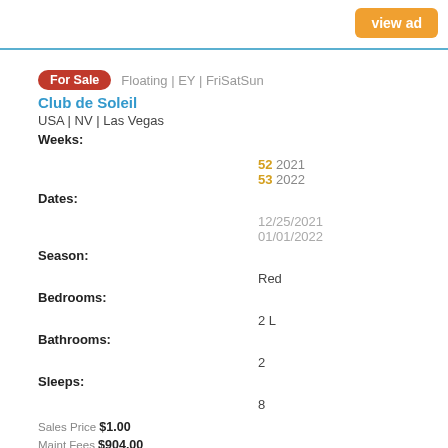view ad
For Sale  Floating | EY | FriSatSun
Club de Soleil
USA | NV | Las Vegas
Weeks:
52 2021
53 2022
Dates:
12/25/2021
01/01/2022
Season:
Red
Bedrooms:
2 L
Bathrooms:
2
Sleeps:
8
Sales Price $1.00
Maint Fees $904.00